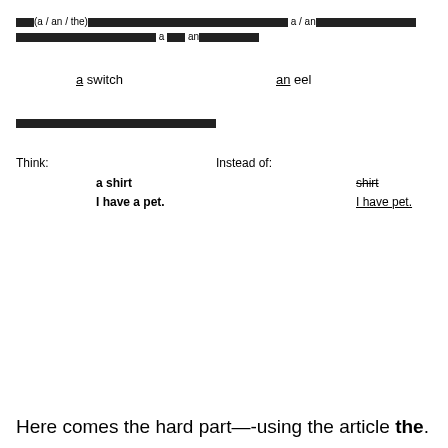[redacted](a / an / the)[redacted] a / an [redacted] a [redacted] an [redacted]
a switch   an eel
[redacted section]
Think:   Instead of:
  a shirt   shirt
  I have a pet.   I have pet.
Here comes the hard part—-using the article the.